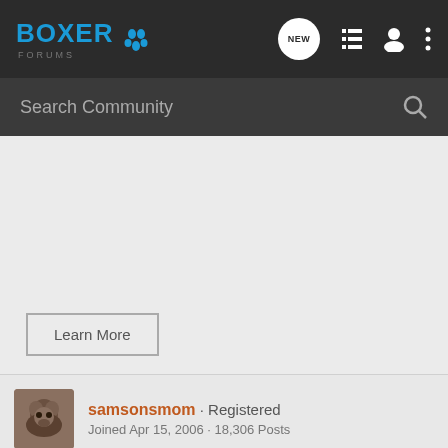BOXER FORUMS
Search Community
Learn More
samsonsmom · Registered
Joined Apr 15, 2006 · 18,306 Posts
#5 · Oct 23, 2007